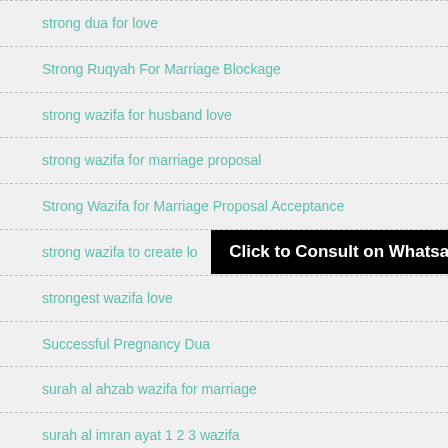strong dua for love
Strong Ruqyah For Marriage Blockage
strong wazifa for husband love
strong wazifa for marriage proposal
Strong Wazifa for Marriage Proposal Acceptance
strong wazifa to create lo...
strongest wazifa love
Successful Pregnancy Dua
surah al ahzab wazifa for marriage
surah al imran ayat 1 2 3 wazifa